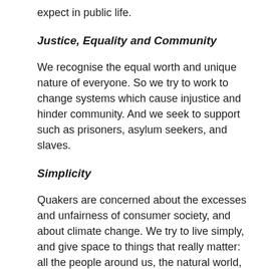expect in public life.
Justice, Equality and Community
We recognise the equal worth and unique nature of everyone. So we try to work to change systems which cause injustice and hinder community. And we seek to support such as prisoners, asylum seekers, and slaves.
Simplicity
Quakers are concerned about the excesses and unfairness of consumer society, and about climate change. We try to live simply, and give space to things that really matter: all the people around us, the natural world, our spiritual experience. We think of each other as Friends, and know each other simply by first name and surname, using no titles.